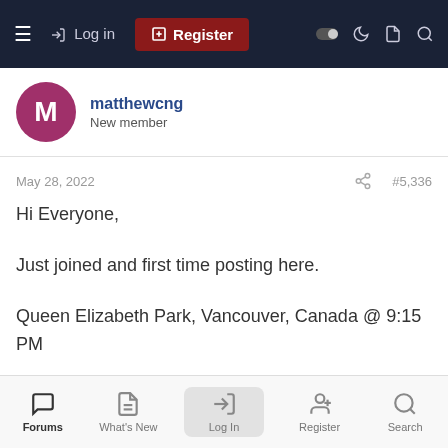Log in | Register
matthewcng
New member
May 28, 2022   #5,336
Hi Everyone,

Just joined and first time posting here.

Queen Elizabeth Park, Vancouver, Canada @ 9:15 PM

Phase One XT / IQ4 150 / 32 HR

2 Image Pano
Forums | What's New | Log In | Register | Search